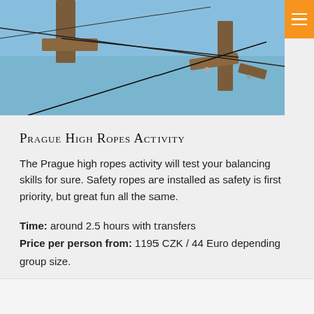[Figure (photo): Outdoor high ropes activity course showing wooden beams and wire ropes against a blue sky]
Prague High Ropes Activity
The Prague high ropes activity will test your balancing skills for sure. Safety ropes are installed as safety is first priority, but great fun all the same.
Time: around 2.5 hours with transfers
Price per person from: 1195 CZK / 44 Euro depending group size.
More Information